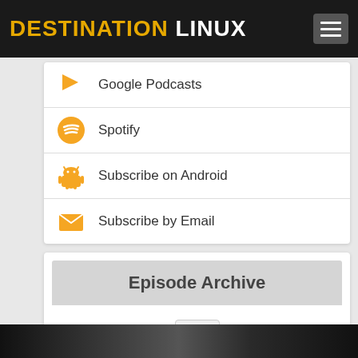DESTINATION LINUX
Google Podcasts
Spotify
Subscribe on Android
Subscribe by Email
Episode Archive
[Figure (other): Hamburger menu icon button inside Episode Archive widget]
[Figure (photo): Partial image visible at bottom of page, appears to be people/podcast participants]